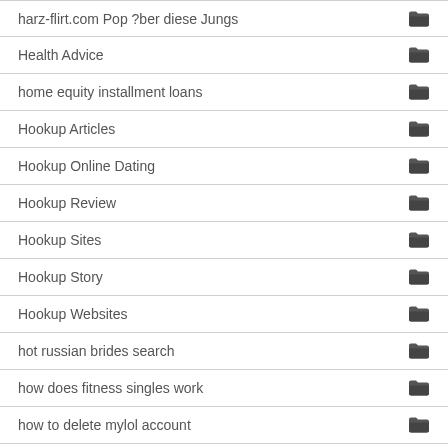harz-flirt.com Pop ?ber diese Jungs
Health Advice
home equity installment loans
Hookup Articles
Hookup Online Dating
Hookup Review
Hookup Sites
Hookup Story
Hookup Websites
hot russian brides search
how does fitness singles work
how to delete mylol account
How To Hookup?